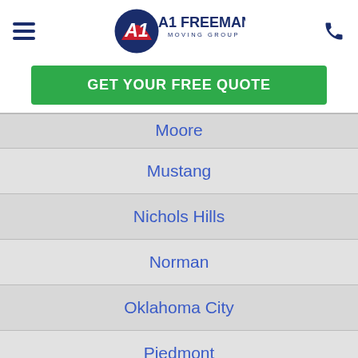[Figure (logo): A1 Freeman Moving Group logo with hamburger menu icon on left and phone icon on right]
GET YOUR FREE QUOTE
Moore
Mustang
Nichols Hills
Norman
Oklahoma City
Piedmont
Shawnee